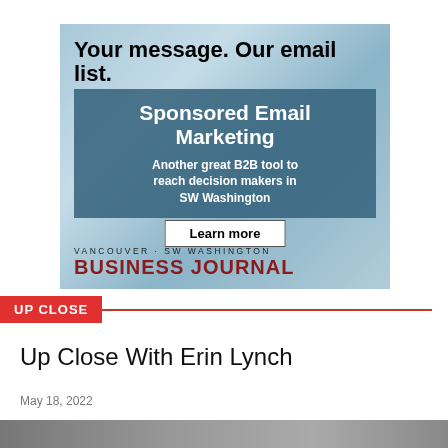[Figure (advertisement): Vancouver SW Washington Business Journal sponsored email marketing advertisement. White background with blue/teal watercolor texture. Text: 'Your message. Our email list.' bold black. Blue-teal box with white bold text: 'Sponsored Email Marketing' and 'Another great B2B tool to reach decision makers in SW Washington'. White 'Learn more' button. Bottom: VANCOUVER·SW WASHINGTON BUSINESS JOURNAL logo in dark red/maroon.]
UP CLOSE
Up Close With Erin Lynch
May 18, 2022
[Figure (photo): Partial photo at bottom of page, cropped — appears to show a person, only top portion visible.]